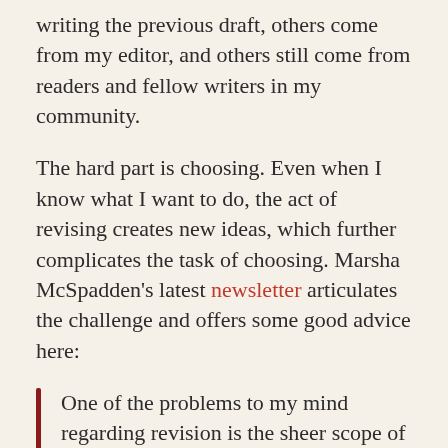writing the previous draft, others come from my editor, and others still come from readers and fellow writers in my community.
The hard part is choosing. Even when I know what I want to do, the act of revising creates new ideas, which further complicates the task of choosing. Marsha McSpadden's latest newsletter articulates the challenge and offers some good advice here:
One of the problems to my mind regarding revision is the sheer scope of it. It seems so overwhelming. Consider: There is no wrong choice. Any direction you take will lead you somewhere. Sometimes when I have an idea that will blow things open, I jot down a quick